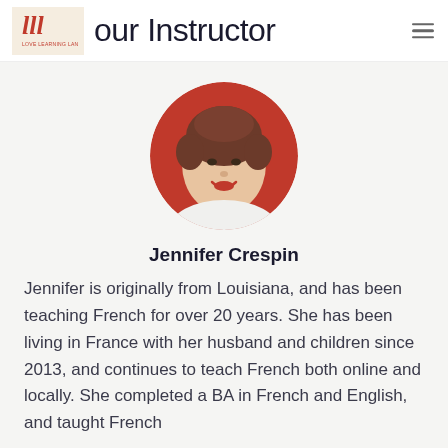our Instructor
[Figure (photo): Circular portrait photo of Jennifer Crespin, a woman with short curly brown hair and red lipstick, wearing a white shirt, against a red circular background.]
Jennifer Crespin
Jennifer is originally from Louisiana, and has been teaching French for over 20 years. She has been living in France with her husband and children since 2013, and continues to teach French both online and locally. She completed a BA in French and English, and taught French